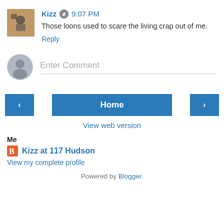[Figure (photo): User avatar thumbnail showing a person with a camera in a room]
Kizz  9:07 PM
Those loons used to scare the living crap out of me.
Reply
[Figure (illustration): Default grey user avatar placeholder circle]
Enter Comment
< Home >
View web version
Me
[Figure (logo): Blogger orange square icon]
Kizz at 117 Hudson
View my complete profile
Powered by Blogger.